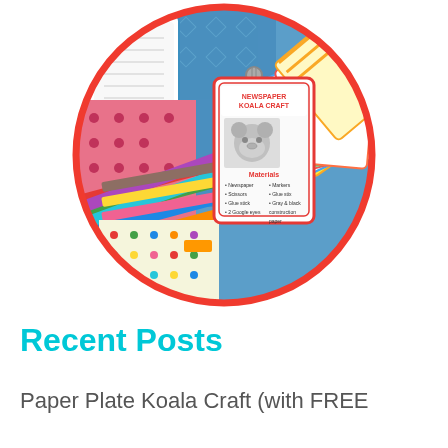[Figure (photo): A circular photo framed with a red border showing colorful craft supplies including colored pencils, patterned paper, and activity cards. The front card reads 'NEWSPAPER KOALA CRAFT' with a koala image and a Materials list.]
Recent Posts
Paper Plate Koala Craft (with FREE